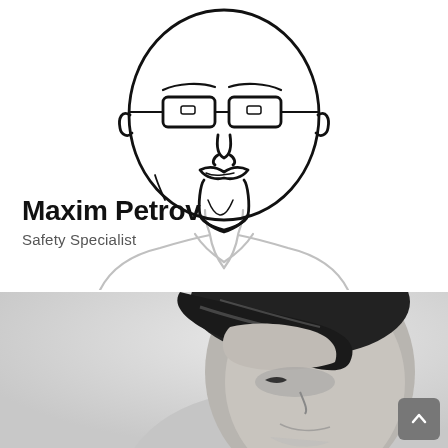[Figure (illustration): Line drawing illustration of a bald man with rectangular glasses, a goatee/mustache, wearing a collared shirt. Drawn in black ink lines on white background with light gray lines for the body/shoulders.]
Maxim Petrov
Safety Specialist
[Figure (photo): Black and white photograph of a man with medium-length dark hair, shown in profile/three-quarter view, slightly smiling. The photo is cropped to show only the head and upper neck area.]